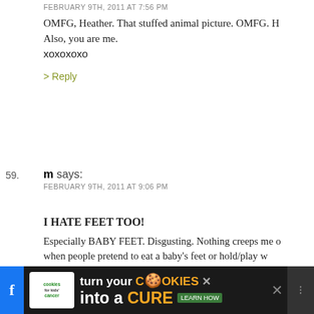FEBRUARY 9TH, 2011 AT 7:56 PM
OMFG, Heather. That stuffed animal picture. OMFG. H… Also, you are me. xoxoxoxo
> Reply
59. m says: FEBRUARY 9TH, 2011 AT 9:06 PM
I HATE FEET TOO!
Especially BABY FEET. Disgusting. Nothing creeps me o… when people pretend to eat a baby's feet or hold/play w… think it's because baby feet are chubby, and I associate … ness, odor and disgusting-ness. That, and their toenails… me.
Mouthing a baby's feet — for me, that's in the same clas… or poo. You just don't do it and it's something I avoid it …
I won't touch human feet of any kind (animal feet are ok…
[Figure (screenshot): Advertisement banner for 'cookies for kids cancer' — turn your COOKIES into a CURE LEARN HOW]